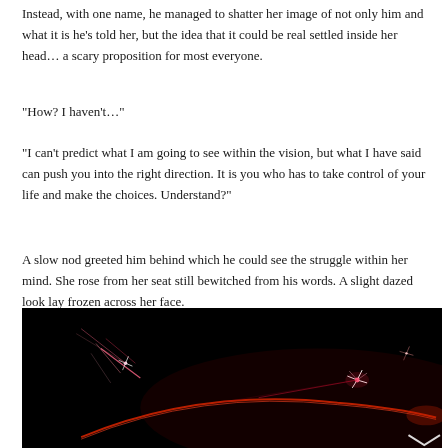Instead, with one name, he managed to shatter her image of not only him and what it is he's told her, but the idea that it could be real settled inside her head… a scary proposition for most everyone.
“How? I haven't…”
“I can't predict what I am going to see within the vision, but what I have said can push you into the right direction. It is you who has to take control of your life and make the choices. Understand?”
A slow nod greeted him behind which he could see the struggle within her mind. She rose from her seat still bewitched from his words. A slight dazed look lay frozen across her face.
The sign of a possible repeat customer.
*
[Figure (illustration): Dark black background with red and pink glowing light streaks and star-burst flares, resembling cosmic or magical energy art.]